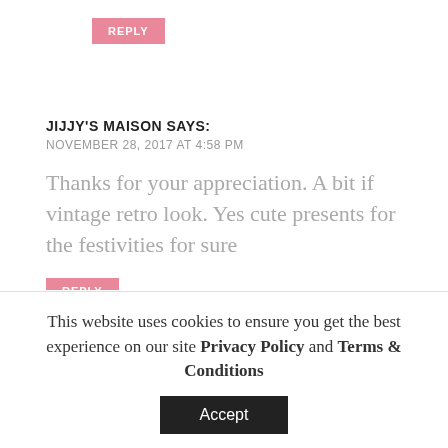REPLY
JIJJY'S MAISON SAYS:
NOVEMBER 28, 2017 AT 4:58 PM
Thanks for your appreciation. A bit if vintage retro look. Yes cute presents for the festivities for sure
REPLY
KOMAL SAYS:
This website uses cookies to ensure you get the best experience on our site Privacy Policy and Terms & Conditions
Accept